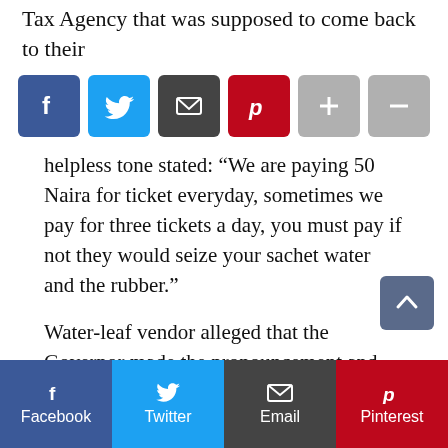Tax Agency that was supposed to come back to their
[Figure (infographic): Social sharing buttons row: Facebook (blue), Twitter (light blue), Email (dark gray), Pinterest (red), Plus (gray), Minus (gray)]
helpless tone stated: “We are paying 50 Naira for ticket everyday, sometimes we pay for three tickets a day, you must pay if not they would seize your sachet water and the rubber.”
Water-leaf vendor alleged that the Governor made the pronouncement and gave the contract to his staff: “We have been paying for ticket every blessed day, otherwise, they won’t allow you to sell in this market.”
In a dialog with a industrial minibus driver (white
[Figure (infographic): Bottom social sharing bar with four buttons: Facebook, Twitter, Email, Pinterest. Also scroll-to-top arrow button on the right side.]